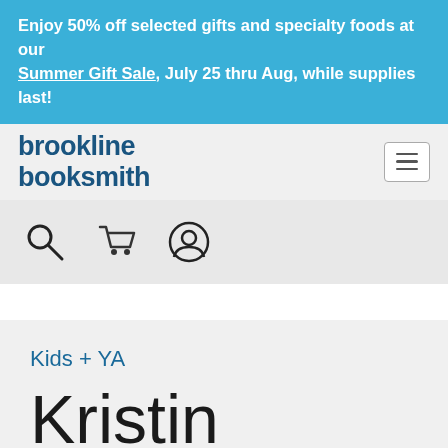Enjoy 50% off selected gifts and specialty foods at our Summer Gift Sale, July 25 thru Aug, while supplies last!
brookline booksmith
[Figure (other): Hamburger menu icon (three horizontal lines) in a rounded rectangle border]
[Figure (other): Search icon (magnifying glass), shopping cart icon, and user account icon]
Kids + YA
Kristin